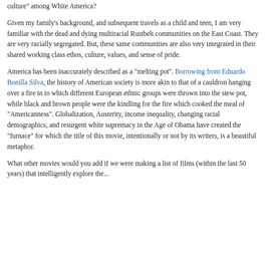culture" among White America?
Given my family's background, and subsequent travels as a child and teen, I am very familiar with the dead and dying multiracial Rustbelt communities on the East Coast. They are very racially segregated. But, these same communities are also very integrated in their shared working class ethos, culture, values, and sense of pride.
America has been inaccurately described as a "melting pot". Borrowing from Eduardo Bonilla Silva, the history of American society is more akin to that of a cauldron hanging over a fire in to which different European ethnic groups were thrown into the stew pot, while black and brown people were the kindling for the fire which cooked the meal of "Americanness". Globalization, Austerity, income inequality, changing racial demographics, and resurgent white supremacy in the Age of Obama have created the "furnace" for which the title of this movie, intentionally or not by its writers, is a beautiful metaphor.
What other movies would you add if we were making a list of films (within the last 50 years) that intelligently explore the...